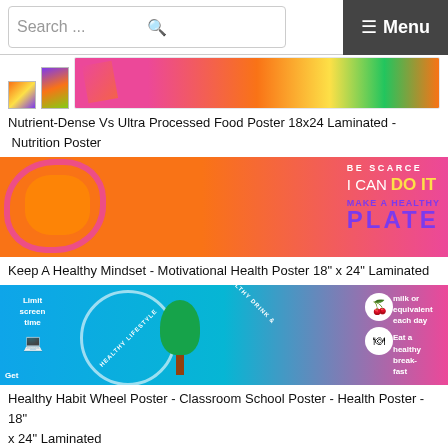Search ... ≡ Menu
[Figure (photo): Thumbnail image of food poster and a partial view of a nutrition poster with pink diagonal stripe and food images]
Nutrient-Dense Vs Ultra Processed Food Poster 18x24 Laminated - Nutrition Poster
[Figure (photo): Keep A Healthy Mindset motivational health poster with orange brain graphic on pink background, text: BE SCARCE, I CAN DO IT, MAKE A HEALTHY PLATE]
Keep A Healthy Mindset - Motivational Health Poster 18" x 24" Laminated
[Figure (infographic): Healthy Habit Wheel Poster showing circular diagram with sections: Healthy Lifestyle, Healthy Drink &..., with icons for limit screen time, get [sleep], milk or equivalent each day, eat a healthy breakfast]
Healthy Habit Wheel Poster - Classroom School Poster - Health Poster - 18" x 24" Laminated